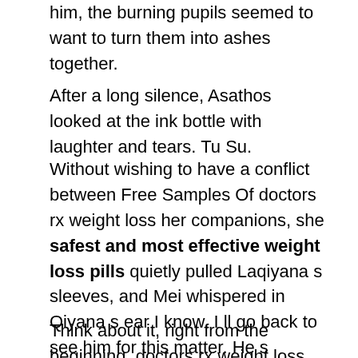him, the burning pupils seemed to want to turn them into ashes together.
After a long silence, Asathos looked at the ink bottle with laughter and tears. Tu Su.
Without wishing to have a conflict between Free Samples Of doctors rx weight loss her companions, she safest and most effective weight loss pills quietly pulled Laqiyana s sleeves, and Mei whispered in Qiyana s ear I know, I ll go back to see him for this matter. He s pronunciation was emphasized, Qiyana seemed to be afraid that Free Samples Of doctors rx weight loss Fu Hua 3 day smoothie diet weight loss would not hear her.
Think about it, right from the beginning, doctors rx weight loss their so called conspiracies how to slim